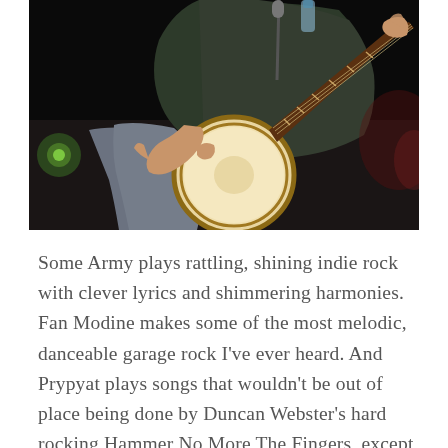[Figure (photo): A person playing a banjo on stage in a dimly lit concert setting. The banjo's round body is prominently visible, and the player's hands are visible on the neck. The background is dark.]
Some Army plays rattling, shining indie rock with clever lyrics and shimmering harmonies. Fan Modine makes some of the most melodic, danceable garage rock I've ever heard. And Prypyat plays songs that wouldn't be out of place being done by Duncan Webster's hard rocking Hammer No More The Fingers, except that he and Leah Gibson have orchestrated them into strange, whimsical, otherworldly acoustic folk songs. They don't